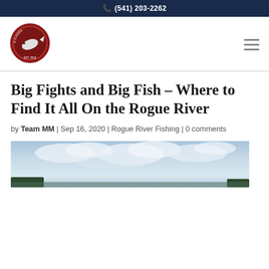(541) 203-2262
[Figure (logo): NK Fishing Guides circular logo with fish illustration, dark red border]
Big Fights and Big Fish – Where to Find It All On the Rogue River
by Team MM | Sep 16, 2020 | Rogue River Fishing | 0 comments
[Figure (photo): Landscape photo showing a wide river scene under a partly cloudy sky with tree line at horizon]